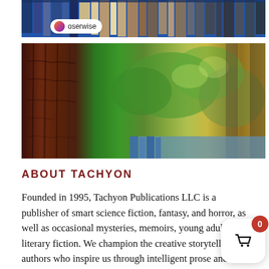[Figure (photo): Top portion of a photo showing books stacked in a blue bin with a username badge 'oserwise' overlaid.]
[Figure (photo): A wide photograph of tree bark and leafy tree canopy with green and golden tones.]
ABOUT TACHYON
Founded in 1995, Tachyon Publications LLC is a publisher of smart science fiction, fantasy, and horror, as well as occasional mysteries, memoirs, young adult, and literary fiction. We champion the creative storytelling of authors who inspire us through intelligent prose and imaginative worlds. Our titles are consistently unique, thought-provoking, and entertaining; Tachyon books have received the Nebula, Hugo, World Fantasy, Sturgeon, Mythopoeic, Locus, Grand Prix de l'Imaginaire, Endeavor, Neukom, Sidewise, and Philip K. Dick awards.